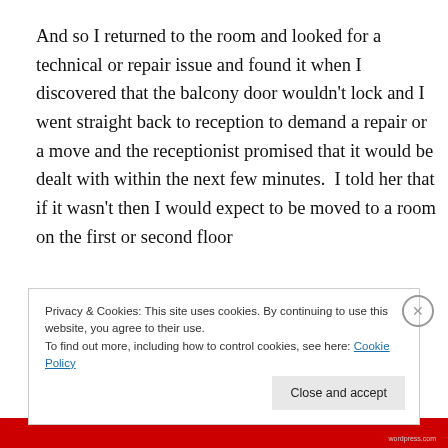And so I returned to the room and looked for a technical or repair issue and found it when I discovered that the balcony door wouldn't lock and I went straight back to reception to demand a repair or a move and the receptionist promised that it would be dealt with within the next few minutes.  I told her that if it wasn't then I would expect to be moved to a room on the first or second floor
Privacy & Cookies: This site uses cookies. By continuing to use this website, you agree to their use.
To find out more, including how to control cookies, see here: Cookie Policy
Close and accept